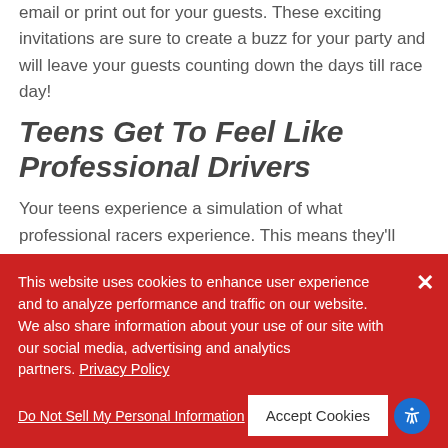email or print out for your guests. These exciting invitations are sure to create a buzz for your party and will leave your guests counting down the days till race day!
Teens Get To Feel Like Professional Drivers
Your teens experience a simulation of what professional racers experience. This means they'll qualify, line up on the starting grid, and RACE. If they do our Grand Prix Package,
This website uses cookies to enhance user experience and to analyze performance and traffic on our website. We also share information about your use of our site with our social media, advertising and analytics partners. Privacy Policy
Do Not Sell My Personal Information
Accept Cookies